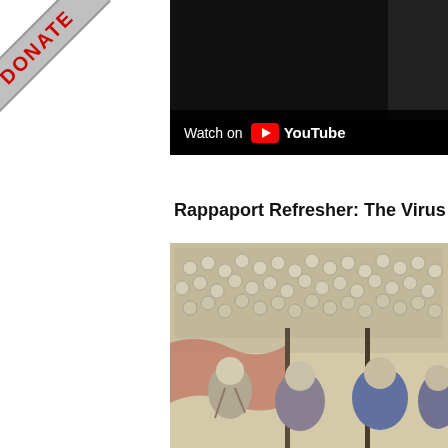[Figure (other): DONATE ribbon/banner in red text on silver/grey diagonal ribbon in upper-left corner]
[Figure (screenshot): YouTube video thumbnail showing dark/black image with 'Watch on YouTube' bar at bottom]
Rappaport Refresher: The Virus T
[Figure (illustration): Historical illustration showing a large crowd of people in period clothing, possibly 17th or 18th century, with figures in wigs and ceremonial dress in the foreground]